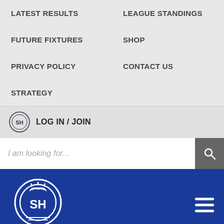LATEST RESULTS
LEAGUE STANDINGS
FUTURE FIXTURES
SHOP
PRIVACY POLICY
CONTACT US
STRATEGY
LOG IN / JOIN
I am looking for...
[Figure (logo): Scottish Hockey logo — circular emblem with SH initials and crown/thistle motif, in white on blue background, with 'Scottish Hockey' text below]
Scottish Hockey